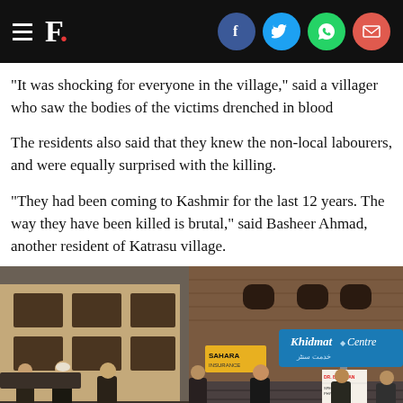F. [logo with social share icons: Facebook, Twitter, WhatsApp, Email]
"It was shocking for everyone in the village," said a villager who saw the bodies of the victims drenched in blood
The residents also said that they knew the non-local labourers, and were equally surprised with the killing.
"They had been coming to Kashmir for the last 12 years. The way they have been killed is brutal," said Basheer Ahmad, another resident of Katrasu village.
[Figure (photo): Street scene in Kashmir showing a group of people standing outside shops, one of which has a blue sign reading 'Khidmat Centre' in English and Urdu. Brick buildings visible in background.]